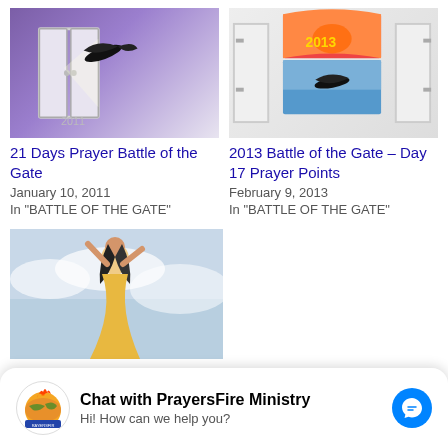[Figure (illustration): Image with eagle flying through open doors against purple background, labeled 2011]
21 Days Prayer Battle of the Gate
January 10, 2011
In "BATTLE OF THE GATE"
[Figure (illustration): Image with open doors, eagle, and 2013 label with fire/sun at top]
2013 Battle of the Gate – Day 17 Prayer Points
February 9, 2013
In "BATTLE OF THE GATE"
[Figure (photo): Woman in yellow dress reaching upward into cloudy sky]
Pray Your Way into 2011: DAY 7 – FINGER OF GOD, CLOSE THE
2011 FOR ME!
[Figure (logo): PrayersFire Ministry logo - globe with fire]
Chat with PrayersFire Ministry
Hi! How can we help you?